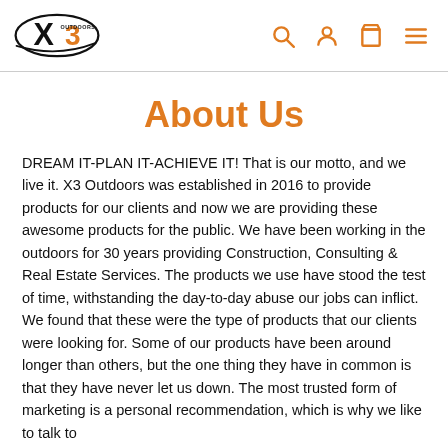X3 Outdoors logo and navigation icons (search, account, cart, menu)
About Us
DREAM IT-PLAN IT-ACHIEVE IT! That is our motto, and we live it. X3 Outdoors was established in 2016 to provide products for our clients and now we are providing these awesome products for the public. We have been working in the outdoors for 30 years providing Construction, Consulting & Real Estate Services. The products we use have stood the test of time, withstanding the day-to-day abuse our jobs can inflict. We found that these were the type of products that our clients were looking for. Some of our products have been around longer than others, but the one thing they have in common is that they have never let us down. The most trusted form of marketing is a personal recommendation, which is why we like to talk to